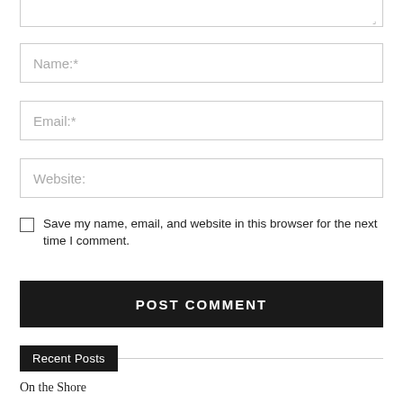Name:*
Email:*
Website:
Save my name, email, and website in this browser for the next time I comment.
POST COMMENT
Recent Posts
On the Shore